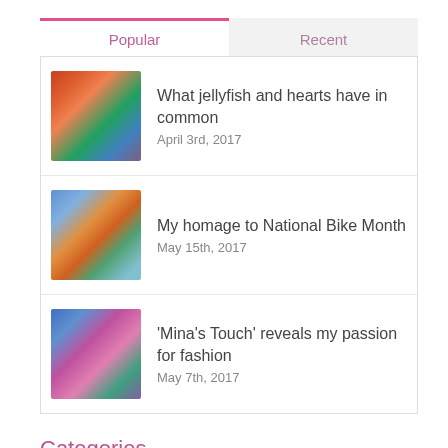Popular	Recent
What jellyfish and hearts have in common
April 3rd, 2017
My homage to National Bike Month
May 15th, 2017
‘Mina’s Touch’ reveals my passion for fashion
May 7th, 2017
Categories